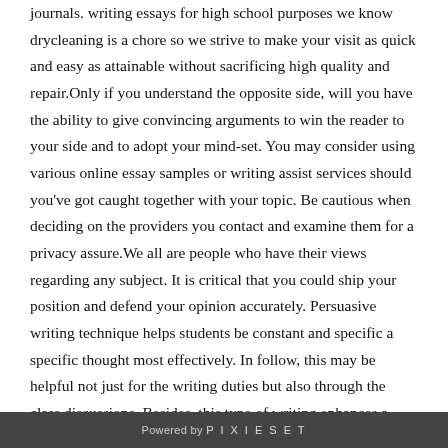journals. writing essays for high school purposes we know drycleaning is a chore so we strive to make your visit as quick and easy as attainable without sacrificing high quality and repair.Only if you understand the opposite side, will you have the ability to give convincing arguments to win the reader to your side and to adopt your mind-set. You may consider using various online essay samples or writing assist services should you've got caught together with your topic. Be cautious when deciding on the providers you contact and examine them for a privacy assure.We all are people who have their views regarding any subject. It is critical that you could ship your position and defend your opinion accurately. Persuasive writing technique helps students be constant and specific a specific thought most effectively. In follow, this may be helpful not just for the writing duties but also through the class discussions. Besides, this type of writing enhances a person's self-esteem.You can have a thesis in thoughts as you start your research, after all, but be ready to vary it should you find it's unsupportable with the data available
Powered by PIXIESET